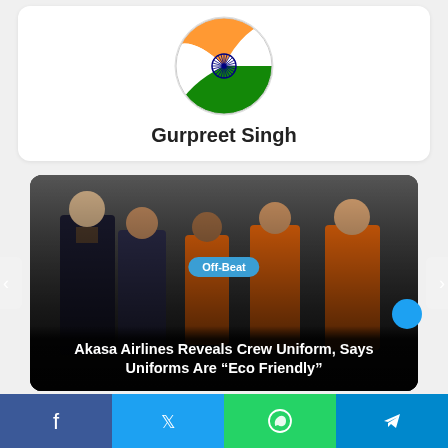[Figure (logo): Indian flag-themed circular logo for Gurpreet Singh]
Gurpreet Singh
[Figure (photo): Akasa Airlines crew members posing in uniforms — pilots in dark suits, cabin crew in orange uniforms against a grey background]
Off-Beat
Akasa Airlines Reveals Crew Uniform, Says Uniforms Are “Eco Friendly”